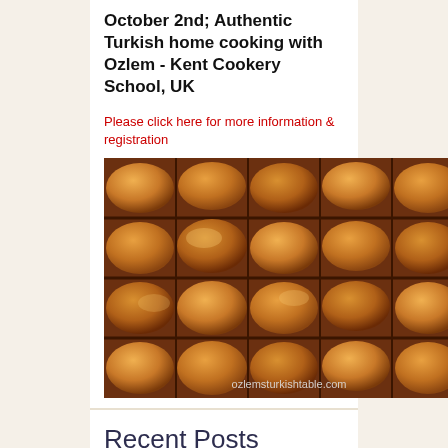October 2nd; Authentic Turkish home cooking with Ozlem - Kent Cookery School, UK
Please click here for more information & registration
[Figure (photo): Close-up photograph of golden-brown baklava pastries arranged in a tray, with the watermark ozlemsturkishtable.com visible at the bottom]
Recent Posts